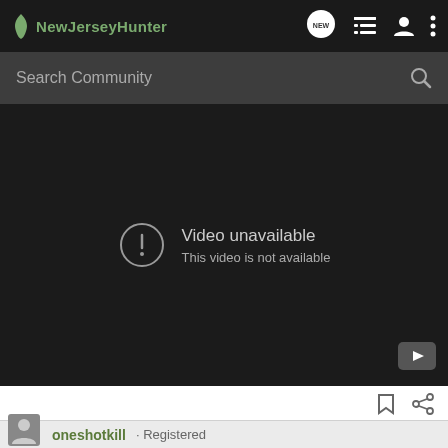NewJerseyHunter
Search Community
[Figure (screenshot): Video unavailable – This video is not available. Dark background video player embed with YouTube logo in bottom-right corner.]
oneshotkill · Registered